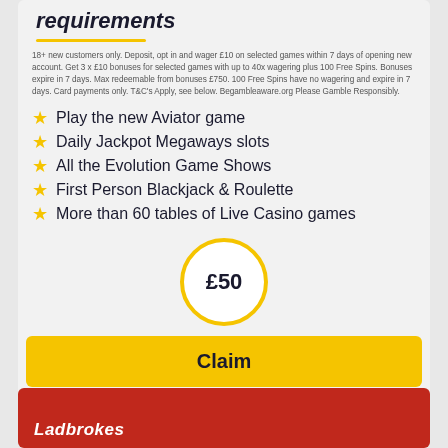requirements
18+ new customers only. Deposit, opt in and wager £10 on selected games within 7 days of opening new account. Get 3 x £10 bonuses for selected games with up to 40x wagering plus 100 Free Spins. Bonuses expire in 7 days. Max redeemable from bonuses £750. 100 Free Spins have no wagering and expire in 7 days. Card payments only. T&C's Apply, see below. Begambleaware.org Please Gamble Responsibly.
Play the new Aviator game
Daily Jackpot Megaways slots
All the Evolution Game Shows
First Person Blackjack & Roulette
More than 60 tables of Live Casino games
£50
Claim
[Figure (logo): Ladbrokes logo in white italic text on red background]